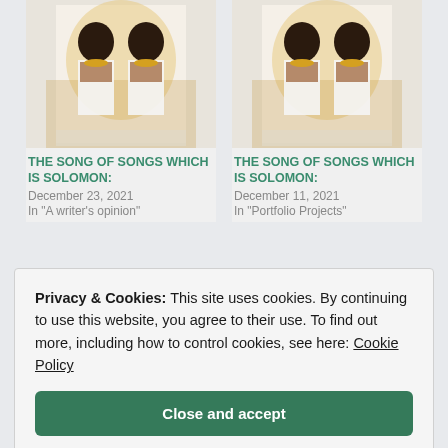[Figure (photo): Book cover image for The Song of Songs Which Is Solomon, showing two figures in traditional dress]
THE SONG OF SONGS WHICH IS SOLOMON:
December 23, 2021
In "A writer's opinion"
[Figure (photo): Book cover image for The Song of Songs Which Is Solomon, showing two figures in traditional dress]
THE SONG OF SONGS WHICH IS SOLOMON:
December 11, 2021
In "Portfolio Projects"
Privacy & Cookies: This site uses cookies. By continuing to use this website, you agree to their use. To find out more, including how to control cookies, see here: Cookie Policy
Close and accept